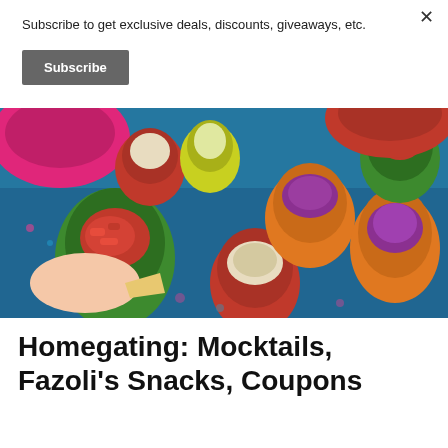Subscribe to get exclusive deals, discounts, giveaways, etc.
Subscribe
[Figure (photo): A photo of colorful bell pepper cups filled with various dips such as hummus, salsa, and other spreads, with a hand holding a chip and dipping into a green pepper cup filled with salsa.]
Homegating: Mocktails, Fazoli's Snacks, Coupons